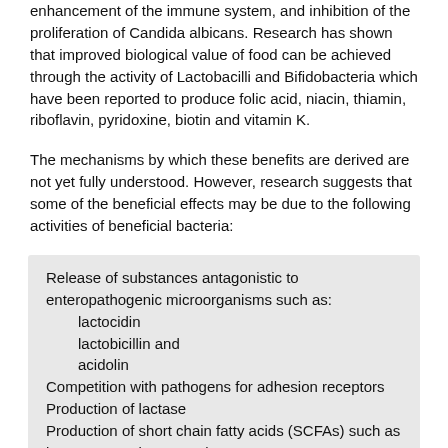enhancement of the immune system, and inhibition of the proliferation of Candida albicans. Research has shown that improved biological value of food can be achieved through the activity of Lactobacilli and Bifidobacteria which have been reported to produce folic acid, niacin, thiamin, riboflavin, pyridoxine, biotin and vitamin K.
The mechanisms by which these benefits are derived are not yet fully understood. However, research suggests that some of the beneficial effects may be due to the following activities of beneficial bacteria:
Release of substances antagonistic to enteropathogenic microorganisms such as:
lactocidin
lactobicillin and
acidolin
Competition with pathogens for adhesion receptors
Production of lactase
Production of short chain fatty acids (SCFAs) such as butyrate, propionate and acetate